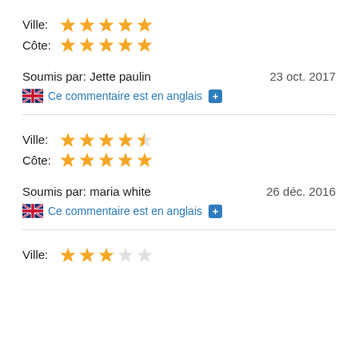Ville: ★★★★★
Côte: ★★★★★
Soumis par: Jette paulin    23 oct. 2017
Ce commentaire est en anglais +
Ville: ★★★★½
Côte: ★★★★★
Soumis par: maria white    26 déc. 2016
Ce commentaire est en anglais +
Ville: ★★★☆☆